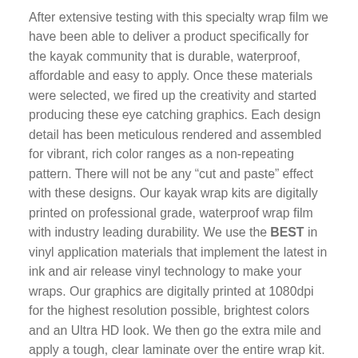After extensive testing with this specialty wrap film we have been able to deliver a product specifically for the kayak community that is durable, waterproof, affordable and easy to apply. Once these materials were selected, we fired up the creativity and started producing these eye catching graphics. Each design detail has been meticulous rendered and assembled for vibrant, rich color ranges as a non-repeating pattern. There will not be any “cut and paste” effect with these designs. Our kayak wrap kits are digitally printed on professional grade, waterproof wrap film with industry leading durability. We use the BEST in vinyl application materials that implement the latest in ink and air release vinyl technology to make your wraps. Our graphics are digitally printed at 1080dpi for the highest resolution possible, brightest colors and an Ultra HD look. We then go the extra mile and apply a tough, clear laminate over the entire wrap kit. This laminating process provides extra protection as well as excellent UV and abrasion resistance and extended outdoor use. This means our graphics will stand up to